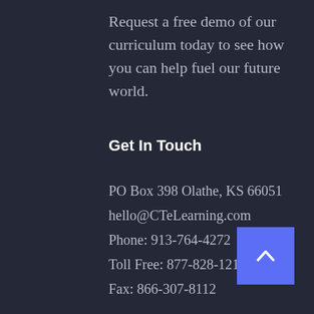Request a free demo of our curriculum today to see how you can help fuel our future world.
Get In Touch
PO Box 398 Olathe, KS 66051
hello@CTeLearning.com
Phone: 913-764-4272
Toll Free: 877-828-1216
Fax: 866-307-8112
[Figure (other): Back to top button — blue square with upward chevron arrow]